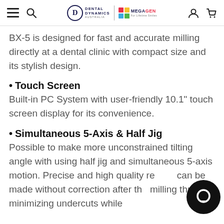Dental Dynamics Australia | MEGAGEN
BX-5 is designed for fast and accurate milling directly at a dental clinic with compact size and its stylish design.
• Touch Screen
Built-in PC System with user-friendly 10.1" touch screen display for its convenience.
• Simultaneous 5-Axis & Half Jig
Possible to make more unconstrained tilting angle with using half jig and simultaneous 5-axis motion. Precise and high quality re can be made without correction after the milling through minimizing undercuts while